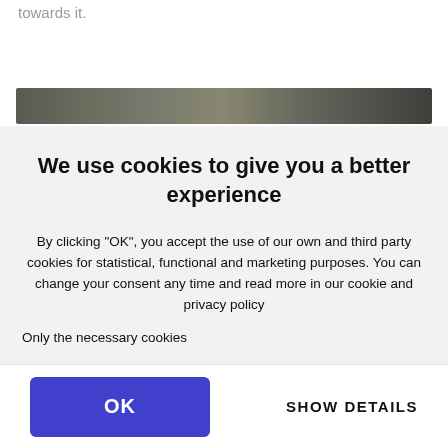towards it.
[Figure (photo): Dark gray/olive colored image bar, partially visible, cropped]
We use cookies to give you a better experience
By clicking "OK", you accept the use of our own and third party cookies for statistical, functional and marketing purposes. You can change your consent any time and read more in our cookie and privacy policy
Only the necessary cookies
OK
SHOW DETAILS